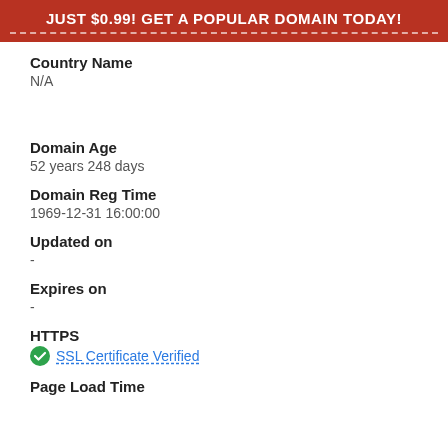JUST $0.99! GET A POPULAR DOMAIN TODAY!
Country Name
N/A
Domain Age
52 years 248 days
Domain Reg Time
1969-12-31 16:00:00
Updated on
-
Expires on
-
HTTPS
SSL Certificate Verified
Page Load Time